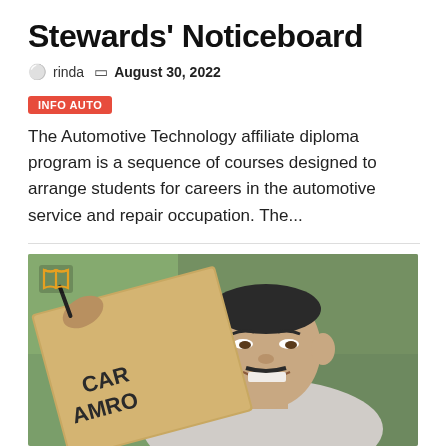Stewards' Noticeboard
rinda   August 30, 2022
INFO AUTO
The Automotive Technology affiliate diploma program is a sequence of courses designed to arrange students for careers in the automotive service and repair occupation. The...
[Figure (photo): A man holding a clipboard with 'CAR AMROD' written on it, sitting in a car, outdoors with green background. A book icon overlay is visible in the top-left corner of the image.]